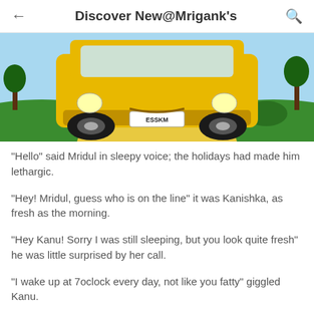Discover New@Mrigank's
[Figure (illustration): Cartoon illustration of a yellow car (school bus style) viewed from the front/below, on a road with green grass on either side and a blue sky. License plate reads 'ESSKM'.]
“Hello” said Mridul in sleepy voice; the holidays had made him lethargic.
“Hey! Mridul, guess who is on the line” it was Kanishka, as fresh as the morning.
“Hey Kanu! Sorry I was still sleeping, but you look quite fresh” he was little surprised by her call.
“I wake up at 7oclock every day, not like you fatty” giggled Kanu.